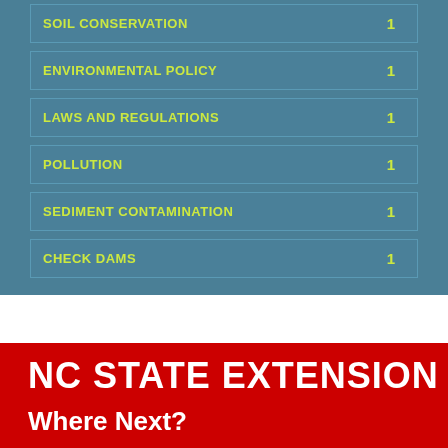SOIL CONSERVATION 1
ENVIRONMENTAL POLICY 1
LAWS AND REGULATIONS 1
POLLUTION 1
SEDIMENT CONTAMINATION 1
CHECK DAMS 1
NC STATE EXTENSION
Where Next?